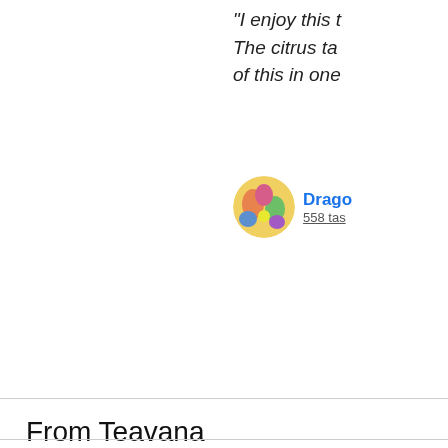"I enjoy this t... The citrus ta... of this in one...
Drago
558 tas
From Teavana
Celebrate the refreshing taste of lemon and lime in this mouthwatering... Sweet lemongrass, tart apple bits, zesty lime, delicious spearmint, and... blended with green Rooibos tea to create a reason to jump for joy and e... “Kampai!”